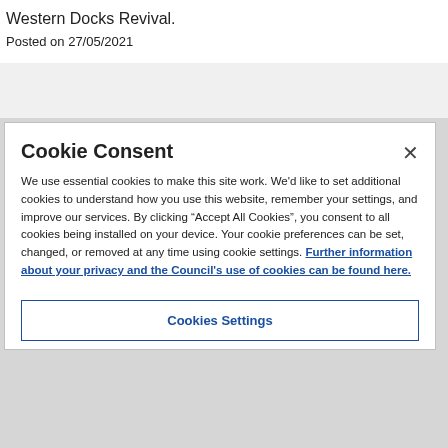Western Docks Revival.
Posted on 27/05/2021
Cookie Consent
We use essential cookies to make this site work. We'd like to set additional cookies to understand how you use this website, remember your settings, and improve our services. By clicking “Accept All Cookies”, you consent to all cookies being installed on your device. Your cookie preferences can be set, changed, or removed at any time using cookie settings. Further information about your privacy and the Council's use of cookies can be found here.
Cookies Settings
Accept All Cookies